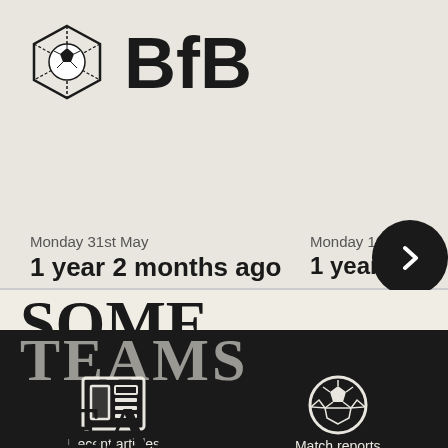[Figure (logo): BfB logo with a cube containing a football icon, next to bold text 'BfB']
Monday 31st May
1 year 2 months ago
Monday 10th M...
1 year 3...
SOME FOOTBALL TEAMS WEAR
[Figure (illustration): Newspaper/article icon in white on dark background]
Recent articles
[Figure (illustration): Football/soccer ball icon in white circle on dark background]
Match reports